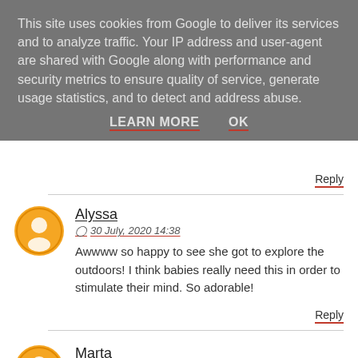This site uses cookies from Google to deliver its services and to analyze traffic. Your IP address and user-agent are shared with Google along with performance and security metrics to ensure quality of service, generate usage statistics, and to detect and address abuse.
LEARN MORE   OK
Reply
Alyssa
30 July, 2020 14:38
Awwww so happy to see she got to explore the outdoors! I think babies really need this in order to stimulate their mind. So adorable!
Reply
Marta
30 July, 2020 15:19
That looks so fun. She is such a cutie.